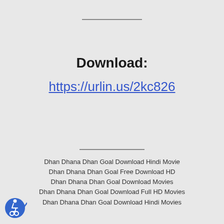Download:
https://urlin.us/2kc826
Dhan Dhana Dhan Goal Download Hindi Movie
Dhan Dhana Dhan Goal Free Download HD
Dhan Dhana Dhan Goal Download Movies
Dhan Dhana Dhan Goal Download Full HD Movies
Dhan Dhana Dhan Goal Download Hindi Movies